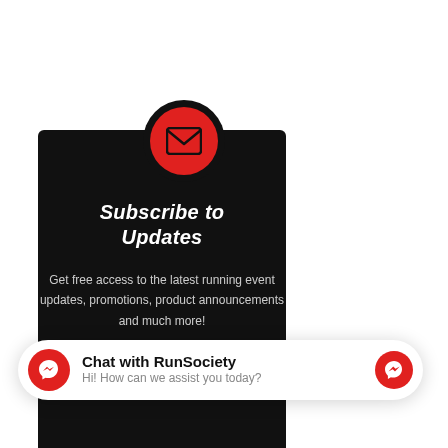[Figure (illustration): Red circle with white envelope/mail icon on black background card]
Subscribe to Updates
Get free access to the latest running event updates, promotions, product announcements and much more!
Chat with RunSociety
Hi! How can we assist you today?